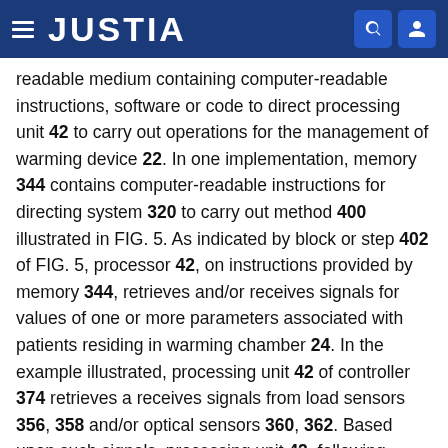JUSTIA
readable medium containing computer-readable instructions, software or code to direct processing unit 42 to carry out operations for the management of warming device 22. In one implementation, memory 344 contains computer-readable instructions for directing system 320 to carry out method 400 illustrated in FIG. 5. As indicated by block or step 402 of FIG. 5, processor 42, on instructions provided by memory 344, retrieves and/or receives signals for values of one or more parameters associated with patients residing in warming chamber 24. In the example illustrated, processing unit 42 of controller 374 retrieves a receives signals from load sensors 356, 358 and/or optical sensors 360, 362. Based upon such signals, processing unit 42, following instructions contained in memory 344, determines the number of patients within warming chamber 24.